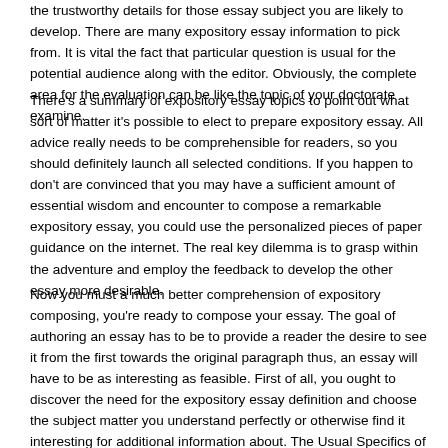the trustworthy details for those essay subject you are likely to develop. There are many expository essay information to pick from. It is vital the fact that particular question is usual for the potential audience along with the editor. Obviously, the complete area for the evaluation can be like the topic of your doctorate examine.
There's a summary of expository essay topics to point out what sort of matter it's possible to elect to prepare expository essay. All advice really needs to be comprehensible for readers, so you should definitely launch all selected conditions. If you happen to don't are convinced that you may have a sufficient amount of essential wisdom and encounter to compose a remarkable expository essay, you could use the personalized pieces of paper guidance on the internet. The real key dilemma is to grasp within the adventure and employ the feedback to develop the other essay more desirable.
Now you must a much better comprehension of expository composing, you're ready to compose your essay. The goal of authoring an essay has to be to provide a reader the desire to see it from the first towards the original paragraph thus, an essay will have to be as interesting as feasible. First of all, you ought to discover the need for the expository essay definition and choose the subject matter you understand perfectly or otherwise find it interesting for additional information about. The Usual Specifics of Qualified Authors Could Actually Help Is it advisable to might need some help out to pinpoint a fantastic area of interest for your own expository essay assignment, you can use EssayTopicGenerator.com. If you